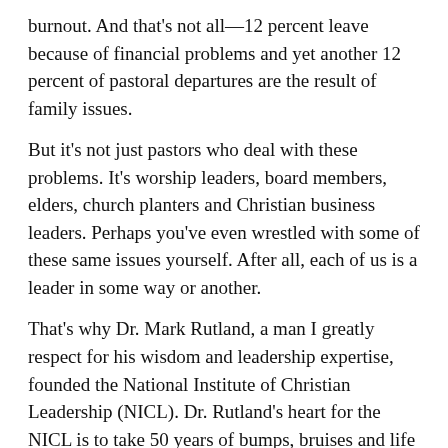burnout. And that’s not all—12 percent leave because of financial problems and yet another 12 percent of pastoral departures are the result of family issues.
But it’s not just pastors who deal with these problems. It’s worship leaders, board members, elders, church planters and Christian business leaders. Perhaps you’ve even wrestled with some of these same issues yourself. After all, each of us is a leader in some way or another.
That’s why Dr. Mark Rutland, a man I greatly respect for his wisdom and leadership expertise, founded the National Institute of Christian Leadership (NICL). Dr. Rutland’s heart for the NICL is to take 50 years of bumps, bruises and life lessons and pour them into today’s leaders—right now.
Get Spirit-filled content delivered right to your inbox! Click here to subscribe to our newsletter.
Dr. Rutland touches on a variety of leadership